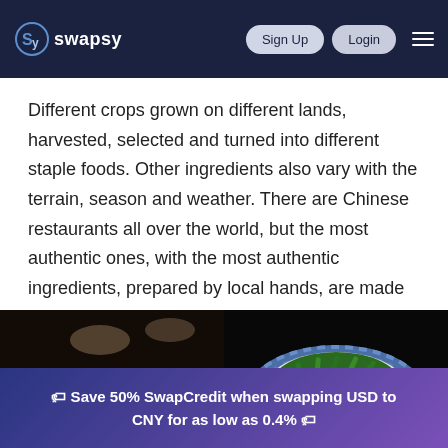swapsy — Sign Up | Login
Different crops grown on different lands, harvested, selected and turned into different staple foods. Other ingredients also vary with the terrain, season and weather. There are Chinese restaurants all over the world, but the most authentic ones, with the most authentic ingredients, prepared by local hands, are made in China.
[Figure (photo): Two food photos side by side: left shows dim sum bamboo steamers with dumplings on a table; right shows a hand holding a blue patterned bowl filled with stir-fried green beans and meat.]
🏷 Save 50% SwapCredit when swapping USD to CNY for as low as 0.4% 🏷